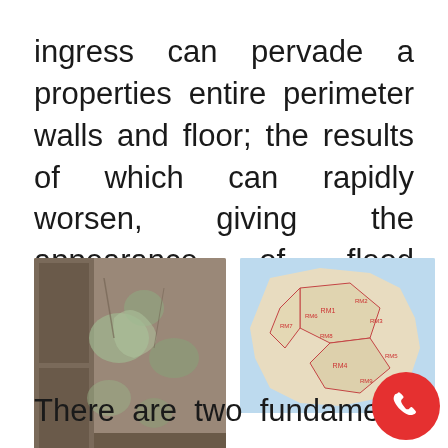ingress can pervade a properties entire perimeter walls and floor; the results of which can rapidly worsen, giving the appearance of flood damage.
[Figure (photo): Three images side by side: (1) interior wall showing mold/damp damage with peeling paint and exposed surfaces, (2) a geographic map with pink/red region outlines and labels, (3) exterior view of a terraced house with brown/grey brick facade]
There are two fundame reasons for the correlation of